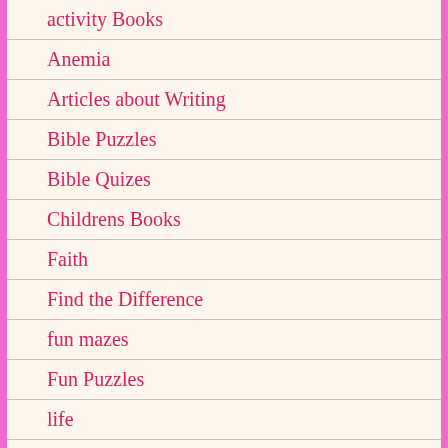activity Books
Anemia
Articles about Writing
Bible Puzzles
Bible Quizes
Childrens Books
Faith
Find the Difference
fun mazes
Fun Puzzles
life
Medical
Music
My Books